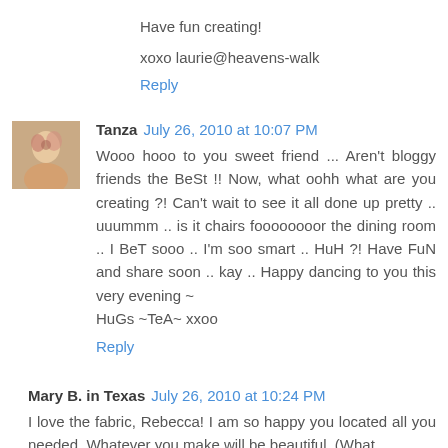Have fun creating!
xoxo laurie@heavens-walk
Reply
Tanza  July 26, 2010 at 10:07 PM
Wooo hooo to you sweet friend ... Aren't bloggy friends the BeSt !! Now, what oohh what are you creating ?! Can't wait to see it all done up pretty .. uuummm .. is it chairs foooooooor the dining room .. I BeT sooo .. I'm soo smart .. HuH ?! Have FuN and share soon .. kay .. Happy dancing to you this very evening ~
HuGs ~TeA~ xxoo
Reply
Mary B. in Texas  July 26, 2010 at 10:24 PM
I love the fabric, Rebecca! I am so happy you located all you needed. Whatever you make will be beautiful. (What